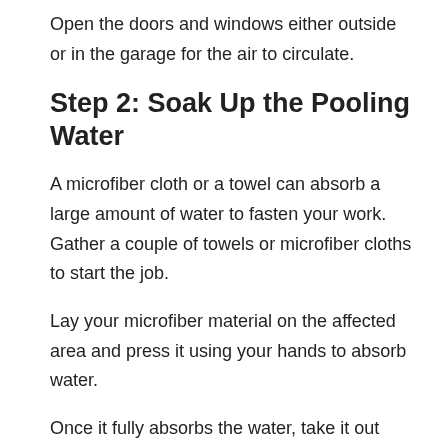Open the doors and windows either outside or in the garage for the air to circulate.
Step 2: Soak Up the Pooling Water
A microfiber cloth or a towel can absorb a large amount of water to fasten your work. Gather a couple of towels or microfiber cloths to start the job.
Lay your microfiber material on the affected area and press it using your hands to absorb water.
Once it fully absorbs the water, take it out and squeeze it out. Repeat the process until it's less moist.
However, if your carpet is detachable, take it out. It would be better if you remove the seats first.
But if it seems complicated, check if your car has floor drain plugs